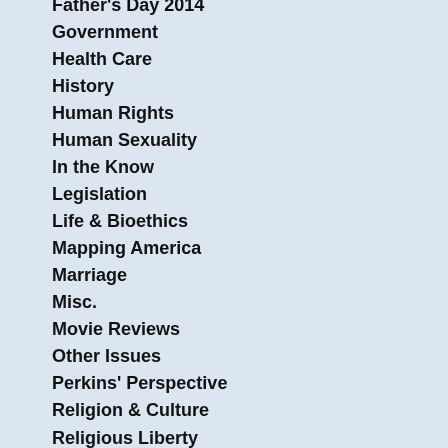Father's Day 2014
Government
Health Care
History
Human Rights
Human Sexuality
In the Know
Legislation
Life & Bioethics
Mapping America
Marriage
Misc.
Movie Reviews
Other Issues
Perkins' Perspective
Religion & Culture
Religious Liberty
Religious Persecution
Social Conservative Review
State of the States
State roundup
States